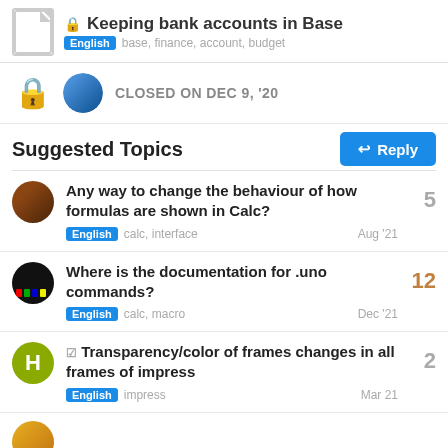Keeping bank accounts in Base
English  base, finance, account, budget
CLOSED ON DEC 9, '20
Suggested Topics
Any way to change the behaviour of how formulas are shown in Calc? English calc, interface Aug '21 5
Where is the documentation for .uno commands? English calc, macro Dec '21 12
Transparency/color of frames changes in all frames of impress English impress Mar 21 2